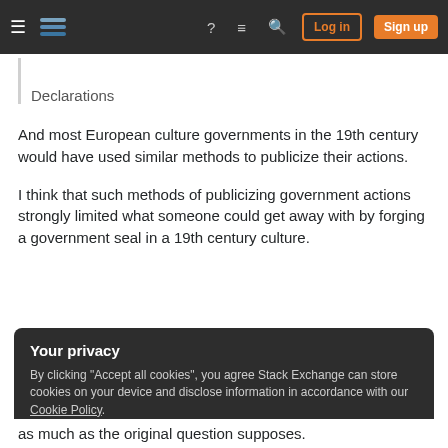Stack Exchange navigation bar with Log in and Sign up buttons
Declarations
And most European culture governments in the 19th century would have used similar methods to publicize their actions.
I think that such methods of publicizing government actions strongly limited what someone could get away with by forging a government seal in a 19th century culture.
Your privacy
By clicking "Accept all cookies", you agree Stack Exchange can store cookies on your device and disclose information in accordance with our Cookie Policy.
Accept all cookies  Customize settings
as much as the original question supposes.